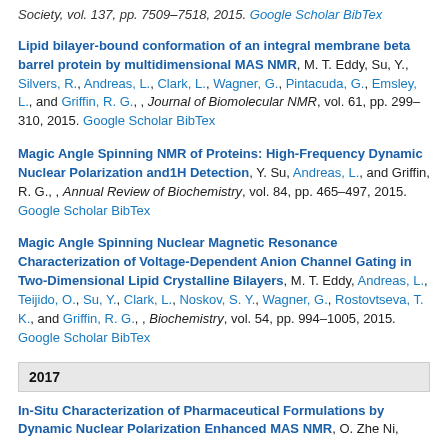Society, vol. 137, pp. 7509–7518, 2015. Google Scholar BibTex
Lipid bilayer-bound conformation of an integral membrane beta barrel protein by multidimensional MAS NMR, M. T. Eddy, Su. Y., Silvers, R., Andreas, L., Clark, L., Wagner, G., Pintacuda, G., Emsley, L., and Griffin, R. G., , Journal of Biomolecular NMR, vol. 61, pp. 299–310, 2015. Google Scholar BibTex
Magic Angle Spinning NMR of Proteins: High-Frequency Dynamic Nuclear Polarization and1H Detection, Y. Su, Andreas, L., and Griffin, R. G., , Annual Review of Biochemistry, vol. 84, pp. 465–497, 2015. Google Scholar BibTex
Magic Angle Spinning Nuclear Magnetic Resonance Characterization of Voltage-Dependent Anion Channel Gating in Two-Dimensional Lipid Crystalline Bilayers, M. T. Eddy, Andreas, L., Teijido, O., Su, Y., Clark, L., Noskov, S. Y., Wagner, G., Rostovtseva, T. K., and Griffin, R. G., , Biochemistry, vol. 54, pp. 994–1005, 2015. Google Scholar BibTex
2017
In-Situ Characterization of Pharmaceutical Formulations by Dynamic Nuclear Polarization Enhanced MAS NMR, O. Zhe Ni,